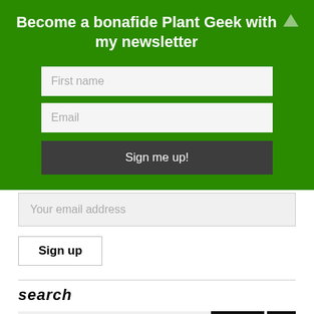Become a bonafide Plant Geek with my newsletter
[Figure (other): Newsletter signup form with First name and Email input fields and a Sign me up! button on a green background]
[Figure (other): Email subscription form with Your email address input and Sign up button]
search
[Figure (other): Search form with Type here... input, GO > button, and an up-arrow button]